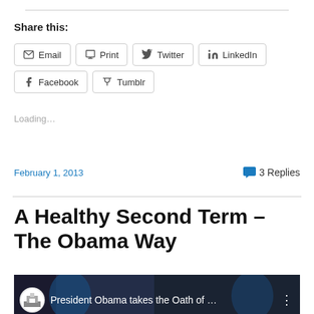Share this:
Email
Print
Twitter
LinkedIn
Facebook
Tumblr
Loading...
February 1, 2013
3 Replies
A Healthy Second Term – The Obama Way
[Figure (screenshot): Video thumbnail showing President Obama takes the Oath of ... with White House icon and menu dots]